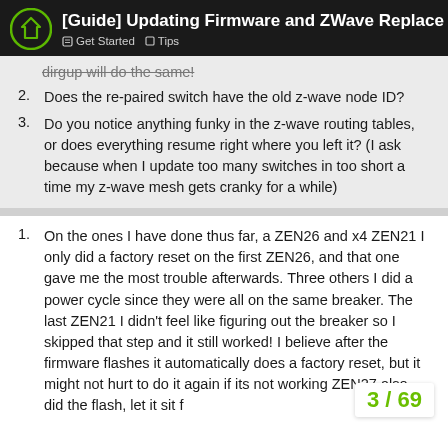[Guide] Updating Firmware and ZWave Replace
dirgup will do the same! (truncated/struck)
Does the re-paired switch have the old z-wave node ID?
Do you notice anything funky in the z-wave routing tables, or does everything resume right where you left it? (I ask because when I update too many switches in too short a time my z-wave mesh gets cranky for a while)
On the ones I have done thus far, a ZEN26 and x4 ZEN21 I only did a factory reset on the first ZEN26, and that one gave me the most trouble afterwards. Three others I did a power cycle since they were all on the same breaker. The last ZEN21 I didn't feel like figuring out the breaker so I skipped that step and it still worked! I believe after the firmware flashes it automatically does a factory reset, but it might not hurt to do it again if its not working ZEN27 also, did the flash, let it sit f
3 / 69